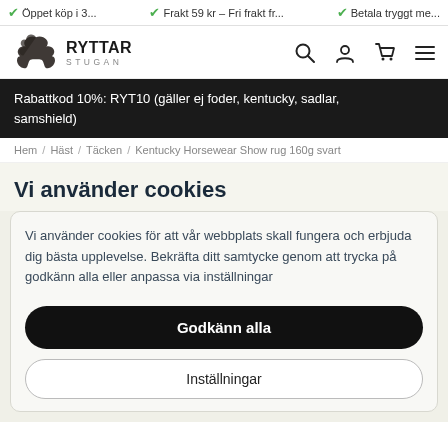Öppet köp i 3... | Frakt 59 kr – Fri frakt fr... | Betala tryggt me...
[Figure (logo): Ryttarstugan logo with horse silhouette and text RYTTAR STUGAN]
Rabattkod 10%: RYT10 (gäller ej foder, kentucky, sadlar, samshield)
Hem / Häst / Täcken / Kentucky Horsewear Show rug 160g svart
Vi använder cookies
Vi använder cookies för att vår webbplats skall fungera och erbjuda dig bästa upplevelse. Bekräfta ditt samtycke genom att trycka på godkänn alla eller anpassa via inställningar
Godkänn alla
Inställningar